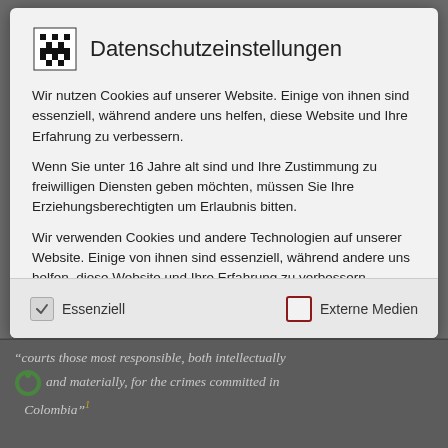Datenschutzeinstellungen
Wir nutzen Cookies auf unserer Website. Einige von ihnen sind essenziell, während andere uns helfen, diese Website und Ihre Erfahrung zu verbessern.
Wenn Sie unter 16 Jahre alt sind und Ihre Zustimmung zu freiwilligen Diensten geben möchten, müssen Sie Ihre Erziehungsberechtigten um Erlaubnis bitten.
Wir verwenden Cookies und andere Technologien auf unserer Website. Einige von ihnen sind essenziell, während andere uns helfen, diese Website und Ihre Erfahrung zu verbessern. Personenbezogene Daten können verarbeitet werden (z. B. IP-Adressen), z. B. für personalisierte Anzeigen und Inhalte oder
Essenziell
Externe Medien
courts those most responsible, both intellectually and materially, for the crimes committed in Colombia"